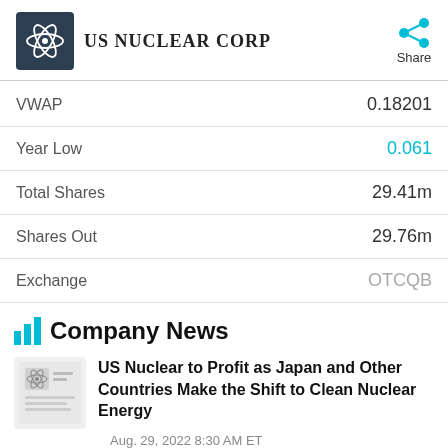[Figure (logo): US Nuclear Corp logo with atom icon on dark background and company name]
| Metric | Value |
| --- | --- |
| VWAP | 0.18201 |
| Year Low | 0.061 |
| Total Shares | 29.41m |
| Shares Out | 29.76m |
| Exchange | OTCQB |
Company News
US Nuclear to Profit as Japan and Other Countries Make the Shift to Clean Nuclear Energy
Aug. 29, 2022 8:30 AM ET